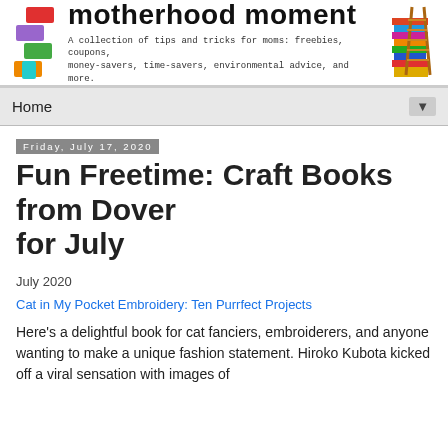[Figure (logo): Motherhood Moment blog header with colorful stacked blocks on left, site title 'motherhood moment' in bold, subtitle in monospace font, and a colorful books/ladder illustration on the right]
Home ▼
Friday, July 17, 2020
Fun Freetime: Craft Books from Dover for July
July 2020
Cat in My Pocket Embroidery: Ten Purrfect Projects
Here's a delightful book for cat fanciers, embroiderers, and anyone wanting to make a unique fashion statement. Hiroko Kubota kicked off a viral sensation with images of